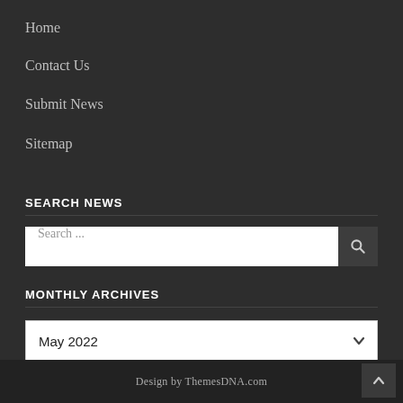Home
Contact Us
Submit News
Sitemap
SEARCH NEWS
Search ...
MONTHLY ARCHIVES
May 2022
Design by ThemesDNA.com